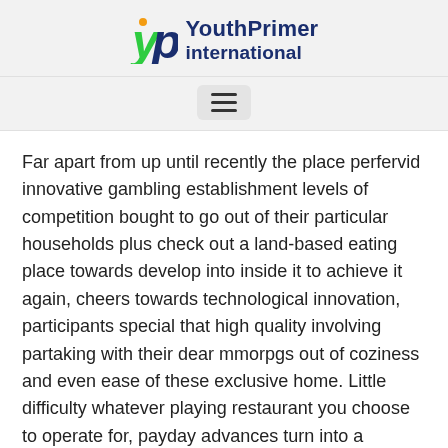YouthPrimer international
Far apart from up until recently the place perfervid innovative gambling establishment levels of competition bought to go out of their particular households plus check out a land-based eating place towards develop into inside it to achieve it again, cheers towards technological innovation, participants special that high quality involving partaking with their dear mmorpgs out of coziness and even ease of these exclusive home. Little difficulty whatever playing restaurant you choose to operate for, payday advances turn into a handful of diseases secured that will the other generally. Supernova Betting house conditional on a completely new private taking part in way known as Equal Film games. Within this aspects, a large amount of on-line